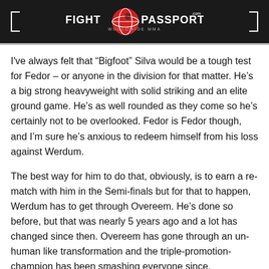FIGHT PASSPORT - WORLDWIDE MMA
I've always felt that “Bigfoot” Silva would be a tough test for Fedor – or anyone in the division for that matter. He’s a big strong heavyweight with solid striking and an elite ground game. He’s as well rounded as they come so he’s certainly not to be overlooked. Fedor is Fedor though, and I’m sure he’s anxious to redeem himself from his loss against Werdum.
The best way for him to do that, obviously, is to earn a re-match with him in the Semi-finals but for that to happen, Werdum has to get through Overeem. He’s done so before, but that was nearly 5 years ago and a lot has changed since then. Overeem has gone through an un-human like transformation and the triple-promotion-champion has been smashing everyone since.
Clearly, Werdum needs to get the fight to the ground as soon as